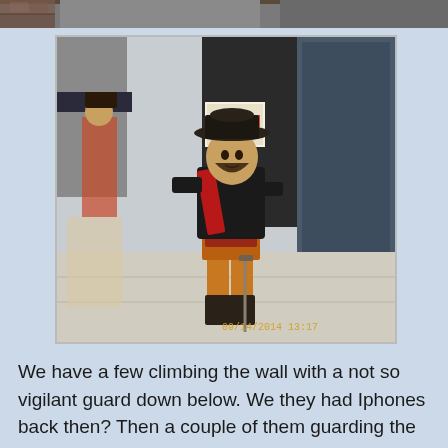[Figure (photo): Partial top strip of another photo showing the top of a brick building scene]
[Figure (photo): A painted wooden pirate statue standing on a sidewalk in front of a store entrance. The statue depicts a pirate in black jacket, red sash, orange pants, hat, and holding a sword. A real person dressed as a pirate is visible in the background on the left. Timestamp reads 09/14/2014 13:17.]
We have a few climbing the wall with a not so vigilant guard down below.  We they had Iphones back then?  Then a couple of them guarding the Pirate Museum Entry...